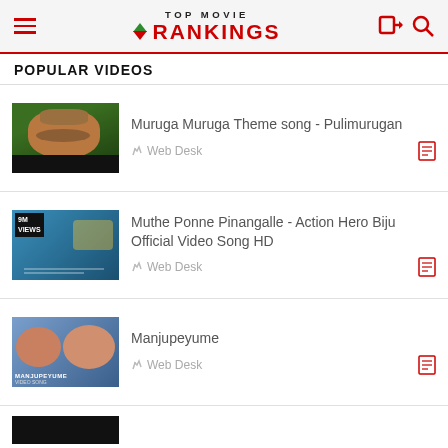TOP MOVIE RANKINGS
POPULAR VIDEOS
[Figure (screenshot): Video thumbnail for Muruga Muruga Theme song - Pulimurugan, showing a man's face against a green jungle background]
Muruga Muruga Theme song - Pulimurugan
Web Desk
[Figure (screenshot): Video thumbnail for Muthe Ponne Pinangalle - Action Hero Biju Official Video Song HD, showing 9M views badge and Malayalam text]
Muthe Ponne Pinangalle - Action Hero Biju Official Video Song HD
Web Desk
[Figure (screenshot): Video thumbnail for Manjupeyume with MANJUPEYUME text overlay and VIDEO SONG label]
Manjupeyume
Web Desk